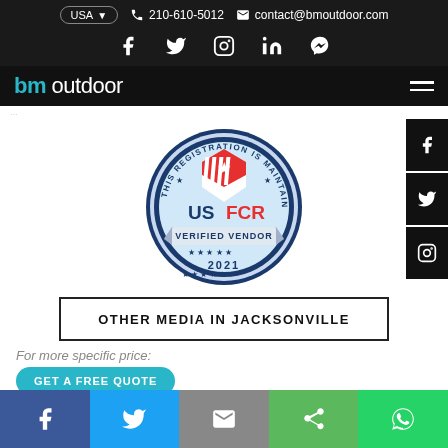USA  📞 210-610-5012  ✉ contact@bmoutdoor.com
[Figure (logo): BM Outdoor logo with social media icons row (Facebook, Twitter, Instagram, LinkedIn, Messenger) on dark background]
[Figure (logo): BM Outdoor navigation bar with logo text 'bm outdoor' and hamburger menu icon]
[Figure (illustration): USFCR Verified Vendor 2021 circular badge with navy blue border, red and white triangle shield, stars, and silver ribbon]
OTHER MEDIA IN JACKSONVILLE
For more specific price:
GET A FREE QUOTE
Search Outdoor Advertising by County, City or